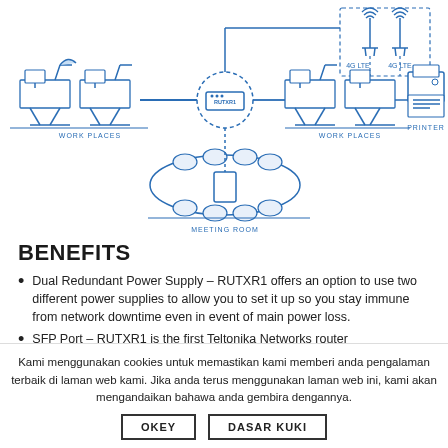[Figure (schematic): Network diagram showing workplaces on left connected to router (RUTXR1) via ethernet, router connected to two 4G LTE towers above via dashed lines, workplaces on right and a printer also connected to router, and a meeting room below connected to router. All elements drawn in blue outline style.]
BENEFITS
Dual Redundant Power Supply – RUTXR1 offers an option to use two different power supplies to allow you to set it up so you stay immune from network downtime even in event of main power loss.
SFP Port – RUTXR1 is the first Teltonika Networks router
Kami menggunakan cookies untuk memastikan kami memberi anda pengalaman terbaik di laman web kami. Jika anda terus menggunakan laman web ini, kami akan mengandaikan bahawa anda gembira dengannya.
OKEY    DASAR KUKI